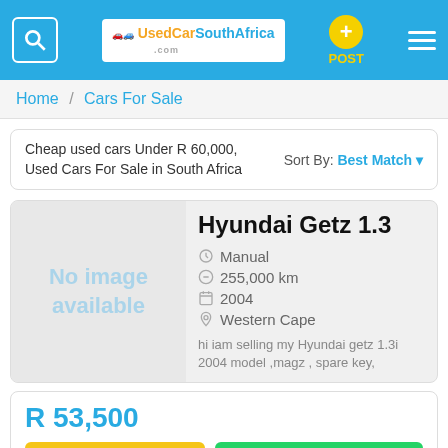[Figure (screenshot): Mobile website navbar with search icon, UsedCarSouthAfrica.com logo, POST button with yellow plus circle, and hamburger menu on blue background]
Home / Cars For Sale
Cheap used cars Under R 60,000, Used Cars For Sale in South Africa  Sort By: Best Match
Hyundai Getz 1.3
Manual
255,000 km
2004
Western Cape
hi iam selling my Hyundai getz 1.3i 2004 model ,magz , spare key,
R 53,500
Contact
WhatsApp